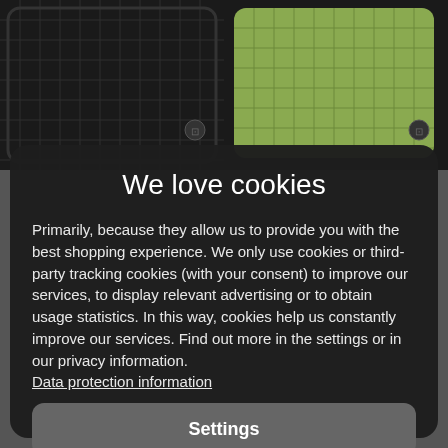[Figure (photo): Two car floor mats shown from above — left mat is black, right mat is olive/green — partially visible behind cookie consent modal]
We love cookies
Primarily, because they allow us to provide you with the best shopping experience. We only use cookies or third-party tracking cookies (with your consent) to improve our services, to display relevant advertising or to obtain usage statistics. In this way, cookies help us constantly improve our services. Find out more in the settings or in our privacy information.
Data protection information
Settings
Reject all
Accept all